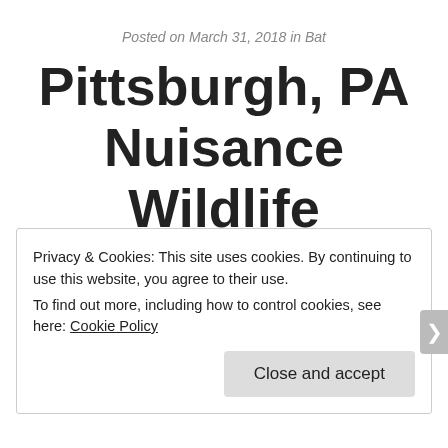Posted on March 31, 2018 in Bat
Pittsburgh, PA Nuisance Wildlife Removal Call
Privacy & Cookies: This site uses cookies. By continuing to use this website, you agree to their use.
To find out more, including how to control cookies, see here: Cookie Policy
Close and accept